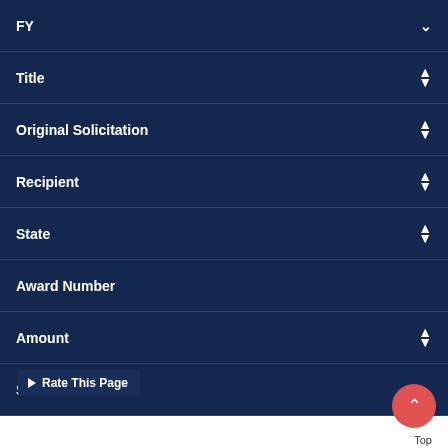FY
Title
Original Solicitation
Recipient
State
Award Number
Amount
Status
NCJCAC Task Force Program
OJJDP FY 18 Internet Crimes Against Children T... Expedited Applicant